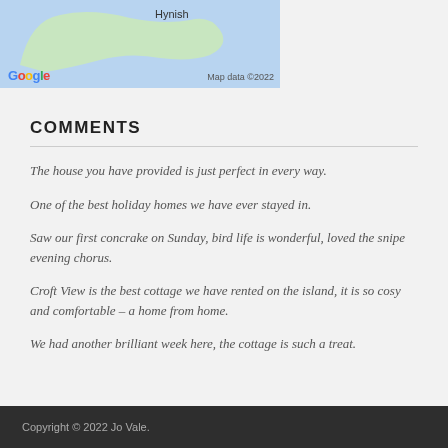[Figure (map): Google Maps screenshot showing Hynish location on an island, with blue water background and green land mass. Google logo bottom-left, 'Map data ©2022' bottom-right.]
COMMENTS
The house you have provided is just perfect in every way.
One of the best holiday homes we have ever stayed in.
Saw our first concrake on Sunday, bird life is wonderful, loved the snipe evening chorus.
Croft View is the best cottage we have rented on the island, it is so cosy and comfortable – a home from home.
We had another brilliant week here, the cottage is such a treat.
Copyright © 2022 Jo Vale.